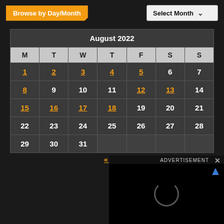Browse by Day/Month
| M | T | W | T | F | S | S |
| --- | --- | --- | --- | --- | --- | --- |
| 1 | 2 | 3 | 4 | 5 | 6 | 7 |
| 8 | 9 | 10 | 11 | 12 | 13 | 14 |
| 15 | 16 | 17 | 18 | 19 | 20 | 21 |
| 22 | 23 | 24 | 25 | 26 | 27 | 28 |
| 29 | 30 | 31 |  |  |  |  |
« Jul
ADVERTISEMENT